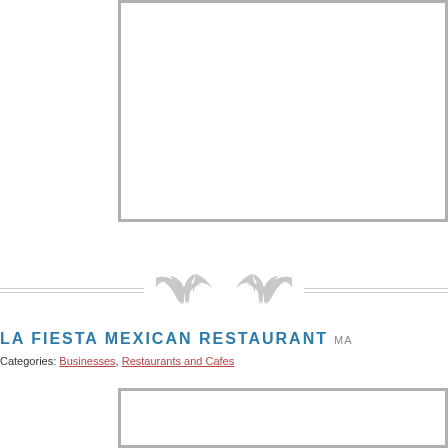[Figure (other): Empty image placeholder box with grey border at top of page]
[Figure (illustration): Decorative divider with two leaf/feather ornaments flanked by horizontal lines]
LA FIESTA MEXICAN RESTAURANT
Categories: Businesses, Restaurants and Cafes
[Figure (other): Empty image placeholder box with grey border at bottom of page]